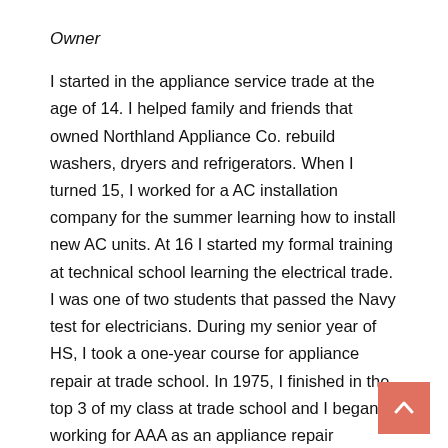Owner
I started in the appliance service trade at the age of 14. I helped family and friends that owned Northland Appliance Co. rebuild washers, dryers and refrigerators. When I turned 15, I worked for a AC installation company for the summer learning how to install new AC units. At 16 I started my formal training at technical school learning the electrical trade. I was one of two students that passed the Navy test for electricians. During my senior year of HS, I took a one-year course for appliance repair at trade school. In 1975, I finished in the top 3 of my class at trade school and I began working for AAA as an appliance repair technician. The following year, I worked on getting AAA established in the HVAC business as well. In 1978, I went to Whirlpool corporate training